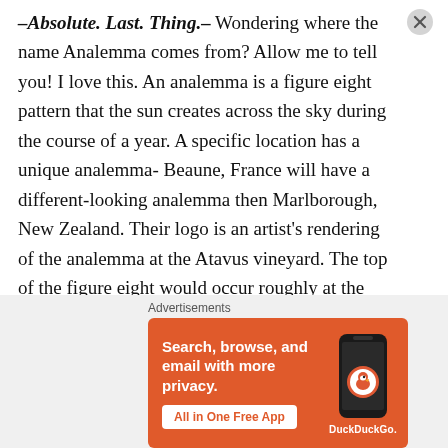–Absolute. Last. Thing.– Wondering where the name Analemma comes from? Allow me to tell you! I love this. An analemma is a figure eight pattern that the sun creates across the sky during the course of a year. A specific location has a unique analemma- Beaune, France will have a different-looking analemma then Marlborough, New Zealand. Their logo is an artist's rendering of the analemma at the Atavus vineyard. The top of the figure eight would occur roughly at the time of the Summer solstice. One of my favorite things about wine is that it is, in many ways, a physical representation of where it comes
Advertisements
[Figure (screenshot): DuckDuckGo advertisement banner with orange background showing 'Search, browse, and email with more privacy. All in One Free App' with phone image and DuckDuckGo logo]